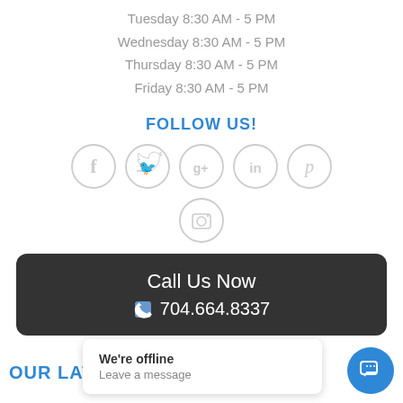Tuesday 8:30 AM - 5 PM
Wednesday 8:30 AM - 5 PM
Thursday 8:30 AM - 5 PM
Friday 8:30 AM - 5 PM
FOLLOW US!
[Figure (illustration): Row of social media icon circles: Facebook, Twitter, Google+, LinkedIn, Pinterest, and Instagram]
Call Us Now
704.664.8337
OUR LAT
We're offline
Leave a message